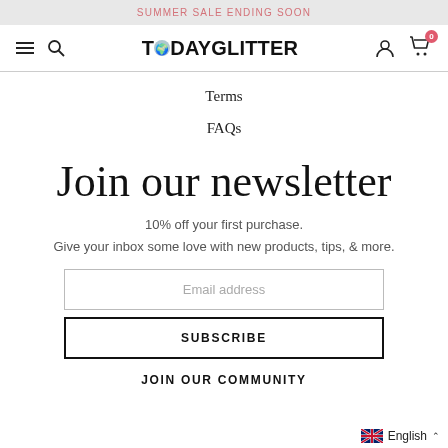SUMMER SALE ENDING SOON
[Figure (logo): TODAYGLITTER logo with navigation icons: hamburger menu, search, user account, shopping cart with badge 0]
Terms
FAQs
Join our newsletter
10% off your first purchase.
Give your inbox some love with new products, tips, & more.
Email address
SUBSCRIBE
JOIN OUR COMMUNITY
English